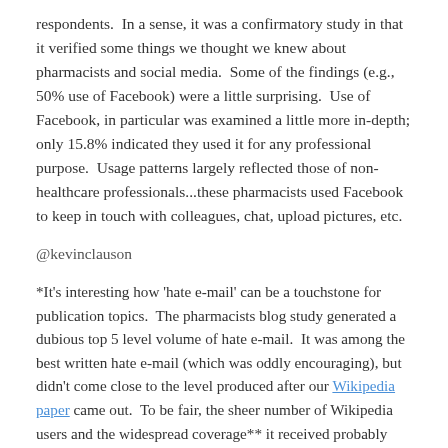respondents.  In a sense, it was a confirmatory study in that it verified some things we thought we knew about pharmacists and social media.  Some of the findings (e.g., 50% use of Facebook) were a little surprising.  Use of Facebook, in particular was examined a little more in-depth; only 15.8% indicated they used it for any professional purpose.  Usage patterns largely reflected those of non-healthcare professionals...these pharmacists used Facebook to keep in touch with colleagues, chat, upload pictures, etc.
@kevinclauson
*It's interesting how 'hate e-mail' can be a touchstone for publication topics.  The pharmacists blog study generated a dubious top 5 level volume of hate e-mail.  It was among the best written hate e-mail (which was oddly encouraging), but didn't come close to the level produced after our Wikipedia paper came out.  To be fair, the sheer number of Wikipedia users and the widespread coverage** it received probably contributed to its you-are-as-bad-